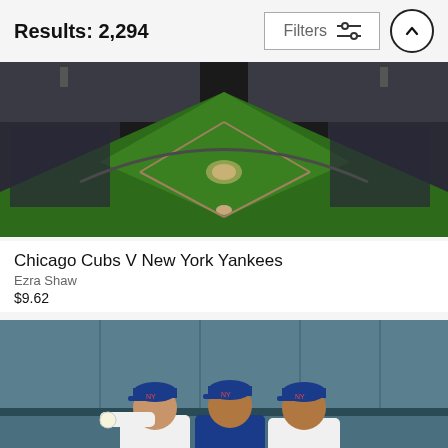Results: 2,294
[Figure (screenshot): Filters button with sliders icon]
[Figure (photo): Aerial panoramic view of a baseball stadium (Yankee Stadium) filled with fans, showing the green diamond field from above]
Chicago Cubs V New York Yankees
Ezra Shaw
$9.62
[Figure (photo): Three New York Mets baseball players in white uniforms with Mets logo sitting in the dugout against a teal/blue-grey wall with a black payphone visible]